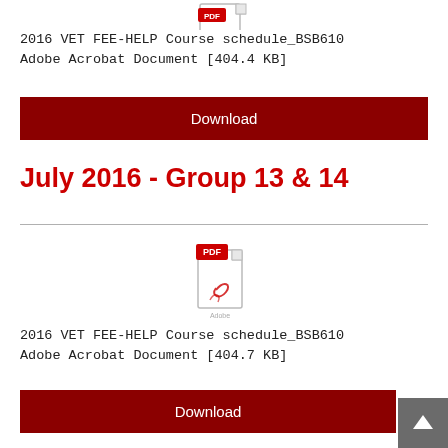[Figure (other): PDF file icon (partially visible at top)]
2016 VET FEE-HELP Course schedule_BSB610
Adobe Acrobat Document [404.4 KB]
Download
July 2016 - Group 13 & 14
[Figure (other): PDF file icon with red PDF label badge]
2016 VET FEE-HELP Course schedule_BSB610
Adobe Acrobat Document [404.7 KB]
Download